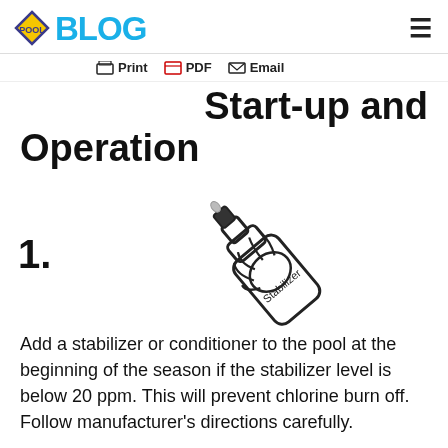POOL FACTORY BLOG
Print  PDF  Email
Start-up and Operation
[Figure (illustration): Step 1 illustration: A hand holding and pouring a bottle labeled 'Stabilizer']
Add a stabilizer or conditioner to the pool at the beginning of the season if the stabilizer level is below 20 ppm. This will prevent chlorine burn off. Follow manufacturer's directions carefully.